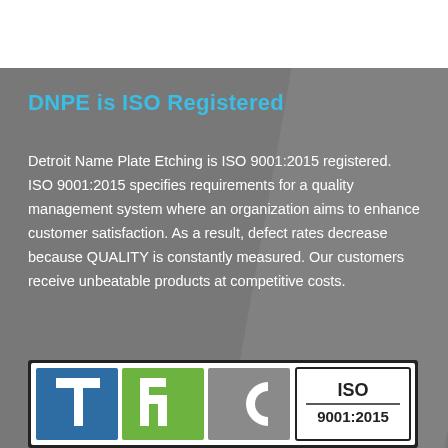DNPE is ISO Registered
Detroit Name Plate Etching is ISO 9001:2015 registered. ISO 9001:2015 specifies requirements for a quality management system where an organization aims to enhance customer satisfaction. As a result, defect rates decrease because QUALITY is constantly measured. Our customers receive unbeatable products at competitive costs.
[Figure (logo): TRC ISO 9001:2015 certification logo with colored blocks for T (blue), R (green), C (gray) and ISO 9001:2015 text block]